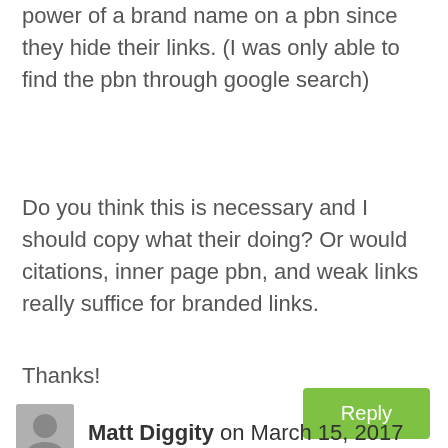power of a brand name on a pbn since they hide their links. (I was only able to find the pbn through google search)
Do you think this is necessary and I should copy what their doing? Or would citations, inner page pbn, and weak links really suffice for branded links.
Thanks!
Reply
Matt Diggity on March 15, 2017